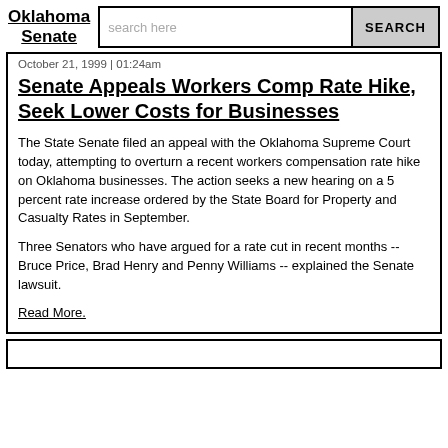Oklahoma Senate
October 21, 1999 | 01:24am
Senate Appeals Workers Comp Rate Hike, Seek Lower Costs for Businesses
The State Senate filed an appeal with the Oklahoma Supreme Court today, attempting to overturn a recent workers compensation rate hike on Oklahoma businesses. The action seeks a new hearing on a 5 percent rate increase ordered by the State Board for Property and Casualty Rates in September.
Three Senators who have argued for a rate cut in recent months -- Bruce Price, Brad Henry and Penny Williams -- explained the Senate lawsuit.
Read More.